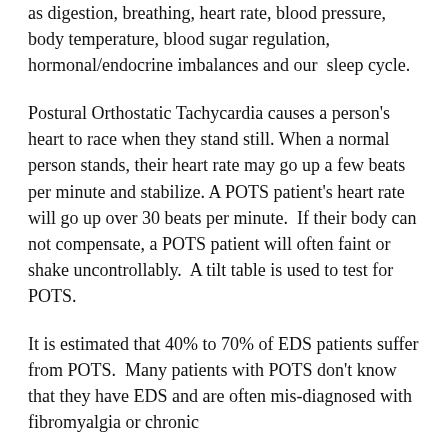as digestion, breathing, heart rate, blood pressure, body temperature, blood sugar regulation, hormonal/endocrine imbalances and our  sleep cycle.
Postural Orthostatic Tachycardia causes a person's heart to race when they stand still. When a normal person stands, their heart rate may go up a few beats per minute and stabilize. A POTS patient's heart rate will go up over 30 beats per minute.  If their body can not compensate, a POTS patient will often faint or shake uncontrollably.  A tilt table is used to test for POTS.
It is estimated that 40% to 70% of EDS patients suffer from POTS.  Many patients with POTS don't know that they have EDS and are often mis-diagnosed with fibromyalgia or chronic